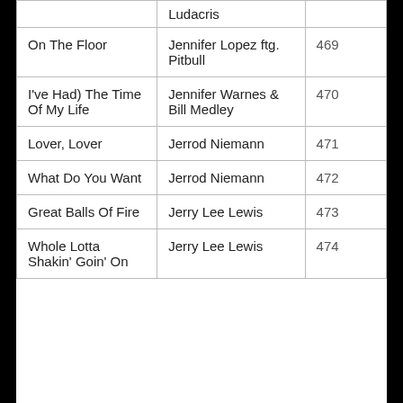| Song | Artist | # |
| --- | --- | --- |
| Ludacris (partial) |  |  |
| On The Floor | Jennifer Lopez ftg. Pitbull | 469 |
| I've Had) The Time Of My Life | Jennifer Warnes & Bill Medley | 470 |
| Lover, Lover | Jerrod Niemann | 471 |
| What Do You Want | Jerrod Niemann | 472 |
| Great Balls Of Fire | Jerry Lee Lewis | 473 |
| Whole Lotta Shakin' Goin' On | Jerry Lee Lewis | 474 |